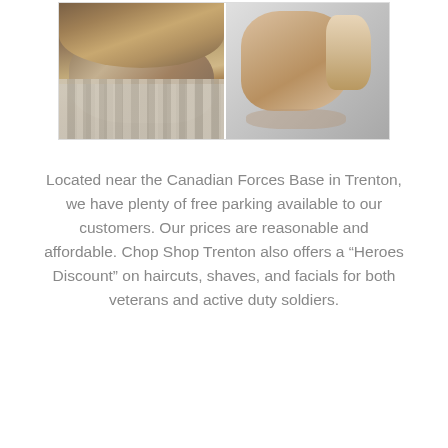[Figure (photo): Two side-by-side photos of haircuts: left photo shows the back of a person's head with medium-length brown hair and a striped shirt; right photo shows the side profile of a man with a short fade haircut and slight beard.]
Located near the Canadian Forces Base in Trenton, we have plenty of free parking available to our customers. Our prices are reasonable and affordable. Chop Shop Trenton also offers a “Heroes Discount” on haircuts, shaves, and facials for both veterans and active duty soldiers.